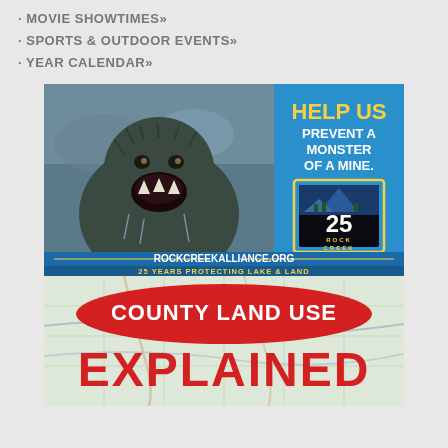· MOVIE SHOWTIMES»
· SPORTS & OUTDOOR EVENTS»
· YEAR CALENDAR»
[Figure (illustration): Rock Creek Alliance advertisement showing a large bear-like monster emerging from water with text 'HELP US PREVENT A MONSTER OF A MINE.' and logo '25 ROCK CREEK ALLIANCE' and website ROCKCREEKALLIANCE.ORG and tagline '25 YEARS PROTECTING LAKE & LAND']
[Figure (illustration): County land use explained advertisement showing a red oval badge with white text 'COUNTY LAND USE' and large red text 'EXPLAINED' over a map background]